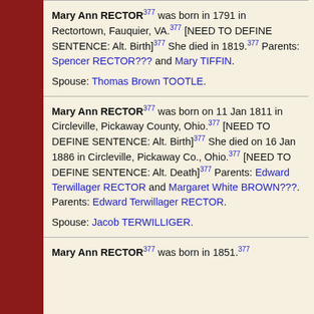Mary Ann RECTOR377 was born in 1791 in Rectortown, Fauquier, VA.377 [NEED TO DEFINE SENTENCE: Alt. Birth]377 She died in 1819.377 Parents: Spencer RECTOR??? and Mary TIFFIN. Spouse: Thomas Brown TOOTLE.
Mary Ann RECTOR377 was born on 11 Jan 1811 in Circleville, Pickaway County, Ohio.377 [NEED TO DEFINE SENTENCE: Alt. Birth]377 She died on 16 Jan 1886 in Circleville, Pickaway Co., Ohio.377 [NEED TO DEFINE SENTENCE: Alt. Death]377 Parents: Edward Terwillager RECTOR and Margaret White BROWN???. Parents: Edward Terwillager RECTOR. Spouse: Jacob TERWILLIGER.
Mary Ann RECTOR377 was born in 1851.377